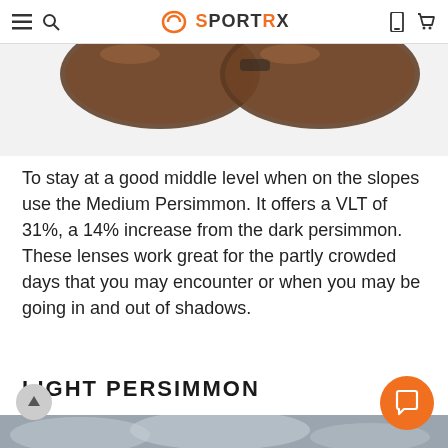SportRx navigation header with hamburger menu, search icon, SportRx logo, phone icon, and cart icon
[Figure (photo): Partial view of sunglasses lenses (brown tinted) against white background — bottom portion of product image]
To stay at a good middle level when on the slopes use the Medium Persimmon. It offers a VLT of 31%, a 14% increase from the dark persimmon. These lenses work great for the partly crowded days that you may encounter or when you may be going in and out of shadows.
LIGHT PERSIMMON
[Figure (photo): Bottom strip of a cloudy sky/outdoor scene photo, partially visible at bottom of page]